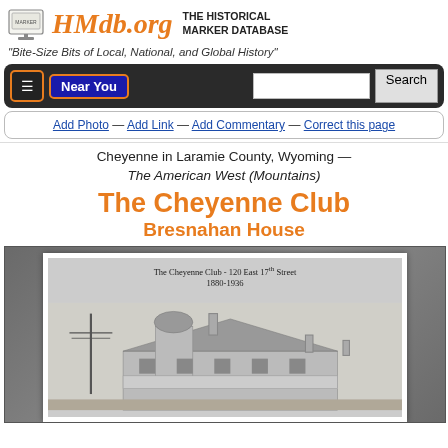HMdb.org THE HISTORICAL MARKER DATABASE
"Bite-Size Bits of Local, National, and Global History"
Near You | Search
Add Photo — Add Link — Add Commentary — Correct this page
Cheyenne in Laramie County, Wyoming — The American West (Mountains)
The Cheyenne Club
Bresnahan House
[Figure (photo): Black and white photograph of The Cheyenne Club building at 120 East 17th Street, 1880-1936, showing a large Victorian-era building with a round tower, wraparound porch, and utility poles nearby.]